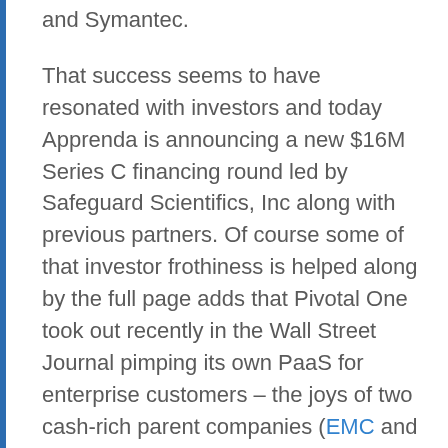and Symantec.
That success seems to have resonated with investors and today Apprenda is announcing a new $16M Series C financing round led by Safeguard Scientifics, Inc along with previous partners. Of course some of that investor frothiness is helped along by the full page adds that Pivotal One took out recently in the Wall Street Journal pimping its own PaaS for enterprise customers – the joys of two cash-rich parent companies (EMC and VMware) and a high profile $100M investment from GE buys some media exposure I guess.
It's a strange time for PaaS in general. Pivotal One's flavor of Cloud Foundry seems to be sucking up the vast majority of the mindshare